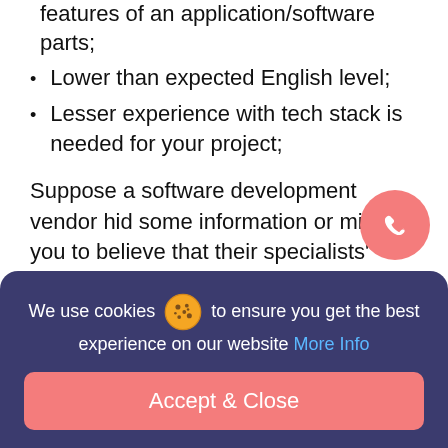features of an application/software parts;
Lower than expected English level;
Lesser experience with tech stack is needed for your project;
Suppose a software development vendor hid some information or misled you to believe that their specialists’ have higher qualifications. In that case, this is the so-called “red flag” that indicates their unreliability. Underperformance is usually visible right from the start, so changing a software development team at that point might be less p
We use cookies to ensure you get the best experience on our website More Info
Accept & Close